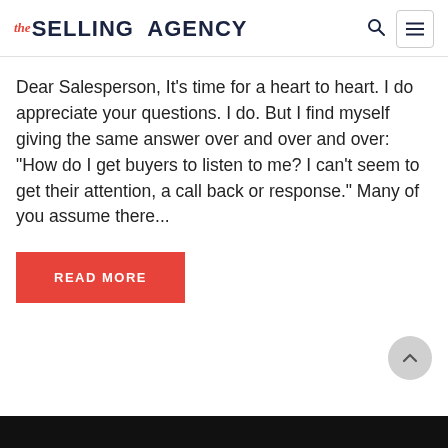the SELLING AGENCY
Dear Salesperson, It's time for a heart to heart. I do appreciate your questions. I do. But I find myself giving the same answer over and over and over: “How do I get buyers to listen to me? I can't seem to get their attention, a call back or response.” Many of you assume there...
READ MORE
[Figure (photo): Dark photograph visible at the bottom edge of the page]